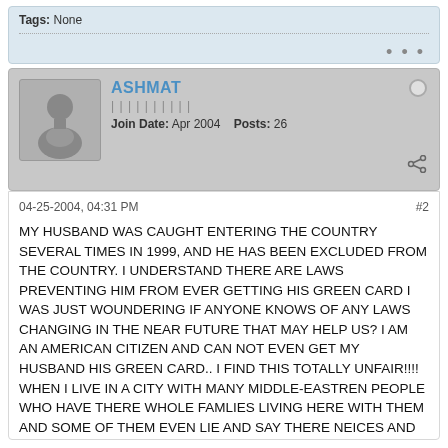Tags: None
[Figure (other): Three dots ellipsis icon (more options)]
ASHMAT
Join Date: Apr 2004    Posts: 26
04-25-2004, 04:31 PM
#2
MY HUSBAND WAS CAUGHT ENTERING THE COUNTRY SEVERAL TIMES IN 1999, AND HE HAS BEEN EXCLUDED FROM THE COUNTRY. I UNDERSTAND THERE ARE LAWS PREVENTING HIM FROM EVER GETTING HIS GREEN CARD I WAS JUST WOUNDERING IF ANYONE KNOWS OF ANY LAWS CHANGING IN THE NEAR FUTURE THAT MAY HELP US? I AM AN AMERICAN CITIZEN AND CAN NOT EVEN GET MY HUSBAND HIS GREEN CARD.. I FIND THIS TOTALLY UNFAIR!!!! WHEN I LIVE IN A CITY WITH MANY MIDDLE-EASTREN PEOPLE WHO HAVE THERE WHOLE FAMLIES LIVING HERE WITH THEM AND SOME OF THEM EVEN LIE AND SAY THERE NEICES AND NEPHEWS ARE THERE OWN CHILDREN JUST TO GET THERE THEIR GREEN CARD... SOMETHING JUST DOESN'T SEEM FAIR I AM A CITIZEN IN THIS COUNTRY AND CAN NOT HELP MY HUSBAND GET HIS GREEN CARD.. IF ANYONE KNOWS OF ANY LAWS THAT MY BE IN THE